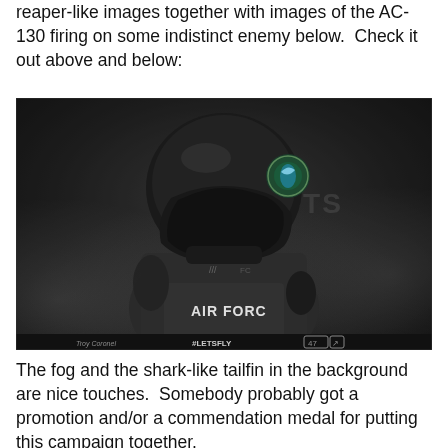reaper-like images together with images of the AC-130 firing on some indistinct enemy below.  Check it out above and below:
[Figure (photo): Air Force football player in black uniform and helmet with a round logo on the helmet, leaning forward in a foggy dark environment. The jersey reads 'AIR FORCE'. Bottom of image shows '#LETSFLY' and a small icon.]
The fog and the shark-like tailfin in the background are nice touches.  Somebody probably got a promotion and/or a commendation medal for putting this campaign together.